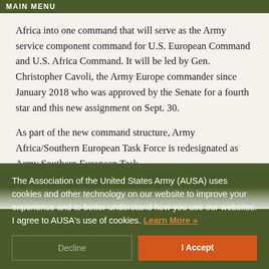MAIN MENU
Africa into one command that will serve as the Army service component command for U.S. European Command and U.S. Africa Command. It will be led by Gen. Christopher Cavoli, the Army Europe commander since January 2018 who was approved by the Senate for a fourth star and this new assignment on Sept. 30.
As part of the new command structure, Army Africa/Southern European Task Force is redesignated as Army Southern European Task...
The Association of the United States Army (AUSA) uses cookies and other technology on our website to improve your experience and to better understand how you use our websites. I agree to AUSA's use of cookies. Learn More »